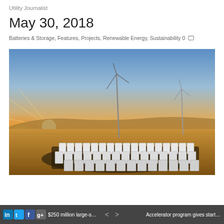Utility Journalist
May 30, 2018
Batteries & Storage, Features, Projects, Renewable Energy, Sustainability 0
[Figure (photo): Aerial photo of a large battery storage facility with rows of white Tesla Powerpack units on a flat plain at sunset, with two wind turbines in the background against an orange and blue sky.]
$250 million large-scale wind farm for N...   <   >   Accelerator program gives startups an en...